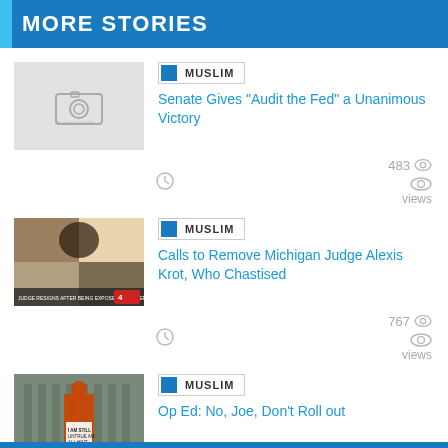MORE STORIES
[Figure (photo): Placeholder image with camera icon for first story]
MUSLIM
Senate Gives “Audit the Fed” a Unanimous Victory
483 views
[Figure (photo): News video thumbnail showing Michigan Judge story]
MUSLIM
Calls to Remove Michigan Judge Alexis Krot, Who Chastised
767 views
[Figure (photo): Photo of protest with sign reading I AM STILL UNTRUE AM ALL HINT]
MUSLIM
Op Ed: No, Joe, Don’t Roll out